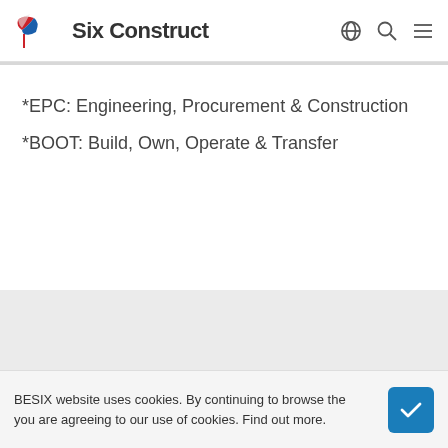Six Construct
*EPC: Engineering, Procurement & Construction
*BOOT: Build, Own, Operate & Transfer
BESIX website uses cookies. By continuing to browse the you are agreeing to our use of cookies. Find out more.